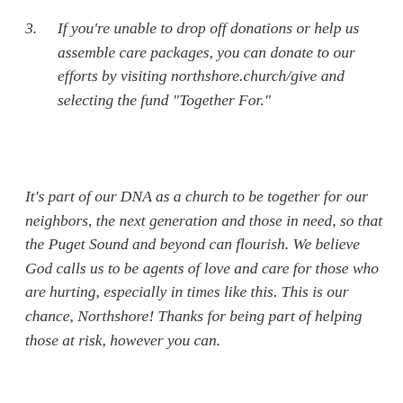3.  If you're unable to drop off donations or help us assemble care packages, you can donate to our efforts by visiting northshore.church/give and selecting the fund “Together For.”
It’s part of our DNA as a church to be together for our neighbors, the next generation and those in need, so that the Puget Sound and beyond can flourish. We believe God calls us to be agents of love and care for those who are hurting, especially in times like this. This is our chance, Northshore! Thanks for being part of helping those at risk, however you can.